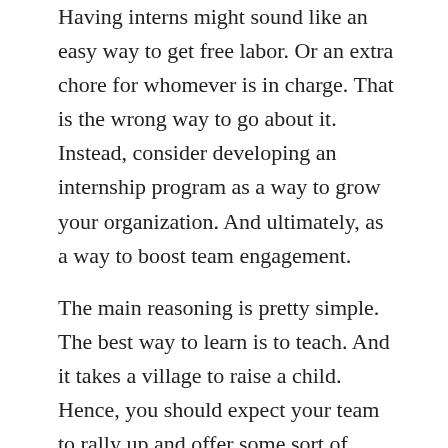Having interns might sound like an easy way to get free labor. Or an extra chore for whomever is in charge. That is the wrong way to go about it. Instead, consider developing an internship program as a way to grow your organization. And ultimately, as a way to boost team engagement.
The main reasoning is pretty simple. The best way to learn is to teach. And it takes a village to raise a child. Hence, you should expect your team to rally up and offer some sort of contribution.
While you can't always expect to eventually hire an intern, you are still benefiting plenty. And no, not from all the free (and more or less qualified) work. Rather, you improve your profile as an employer. Moreover, high-reputation internships increase employee